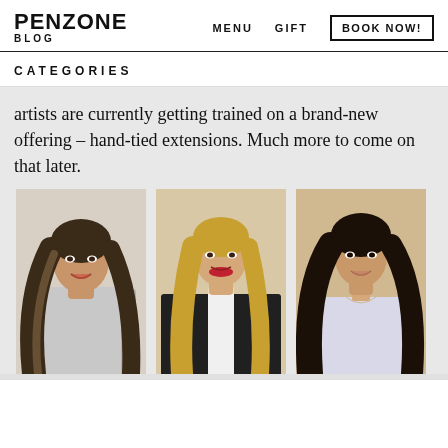PENZONE BLOG | MENU | GIFT | BOOK NOW!
CATEGORIES
artists are currently getting trained on a brand-new offering – hand-tied extensions. Much more to come on that later.
[Figure (photo): Three women with different hair styles: left - woman with long wavy highlighted hair in a blazer; center - woman with long straight blonde hair and red lips in a leather jacket; right - woman with long dark wavy hair in a light top.]